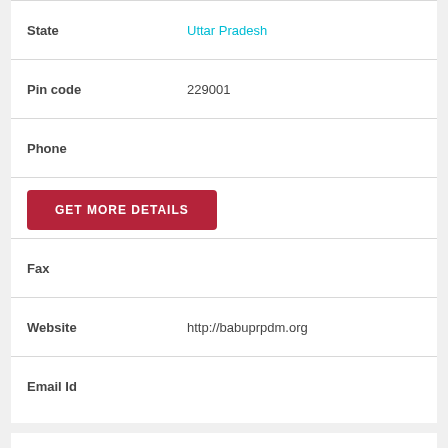| Field | Value |
| --- | --- |
| State | Uttar Pradesh |
| Pin code | 229001 |
| Phone |  |
| Fax |  |
| Website | http://babuprpdm.org |
| Email Id |  |
FEE STRUCTURE
Fee Structure